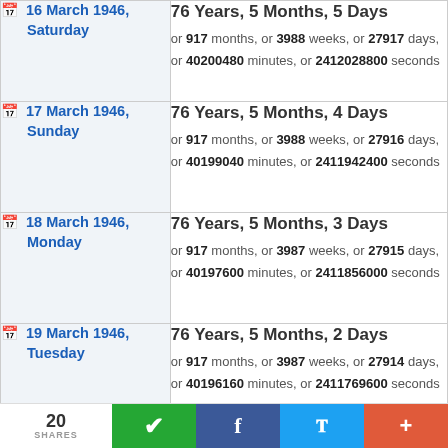| Date | Age Duration |
| --- | --- |
| 16 March 1946, Saturday | 76 Years, 5 Months, 5 Days
or 917 months, or 3988 weeks, or 27917 days, or 40200480 minutes, or 2412028800 seconds |
| 17 March 1946, Sunday | 76 Years, 5 Months, 4 Days
or 917 months, or 3988 weeks, or 27916 days, or 40199040 minutes, or 2411942400 seconds |
| 18 March 1946, Monday | 76 Years, 5 Months, 3 Days
or 917 months, or 3987 weeks, or 27915 days, or 40197600 minutes, or 2411856000 seconds |
| 19 March 1946, Tuesday | 76 Years, 5 Months, 2 Days
or 917 months, or 3987 weeks, or 27914 days, or 40196160 minutes, or 2411769600 seconds |
20 SHARES | WhatsApp | Facebook | Twitter | +